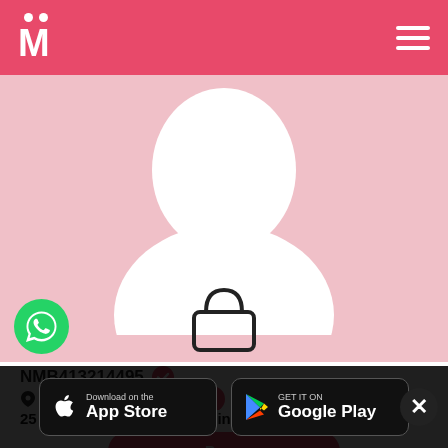[Figure (logo): Matrimony website logo with white M letter and two dots on pink/red background]
[Figure (photo): Blurred/silhouette profile photo on pink background with a lock icon overlay]
NMB413214495 (verified badge)
London, England, GB
25 years Old, 5'2'', Hindu , Lingayat
[Figure (logo): WhatsApp green phone icon]
[Figure (screenshot): Download on the App Store button]
[Figure (screenshot): GET IT ON Google Play button]